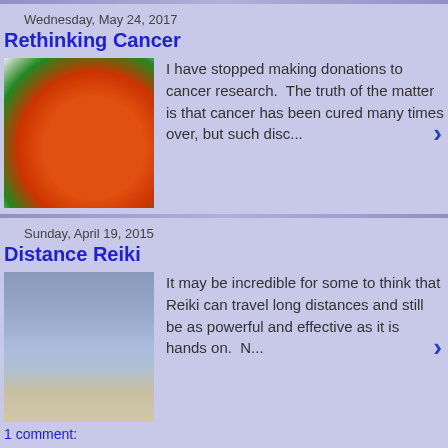Wednesday, May 24, 2017
Rethinking Cancer
I have stopped making donations to cancer research.  The truth of the matter is that cancer has been cured many times over, but such disc...
Sunday, April 19, 2015
Distance Reiki
It may be incredible for some to think that Reiki can travel long distances and still be as powerful and effective as it is hands on.  N...
1 comment:
Thursday, April 24, 2014
Spring Cleaning
In my part of the world, it is the season of rebirth.